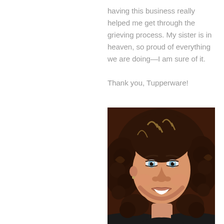having this business really helped me get through the grieving process. My sister is in heaven, so proud of everything we are doing—I am sure of it.

Thank you, Tupperware!
[Figure (photo): Portrait photo of a smiling woman with curly brown hair with highlights, light blue eyes, wearing dark clothing, against a dark brown background.]